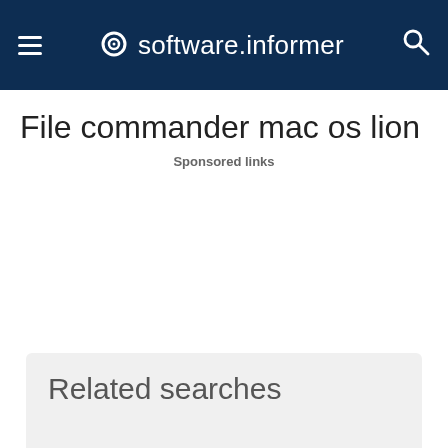software.informer
File commander mac os lion
Sponsored links
Related searches